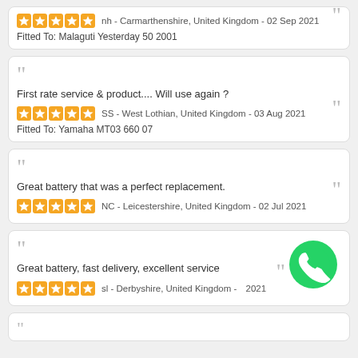nh - Carmarthenshire, United Kingdom - 02 Sep 2021
Fitted To: Malaguti Yesterday 50 2001
First rate service & product.... Will use again ?
SS - West Lothian, United Kingdom - 03 Aug 2021
Fitted To: Yamaha MT03 660 07
Great battery that was a perfect replacement.
NC - Leicestershire, United Kingdom - 02 Jul 2021
Great battery, fast delivery, excellent service
sl - Derbyshire, United Kingdom - 2021
[Figure (logo): WhatsApp logo green circle with phone icon]